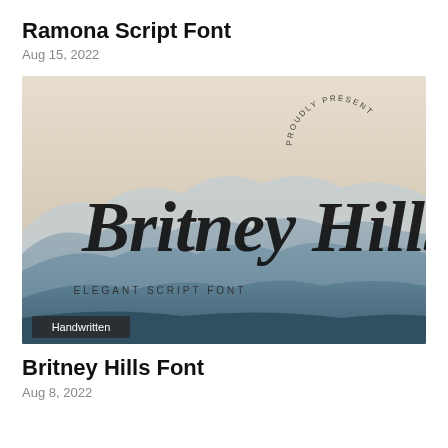Ramona Script Font
Aug 15, 2022
[Figure (illustration): Preview image of Britney Hills Font showing script text 'Britney Hills' in a handwritten calligraphy style over a misty mountain landscape background. Text reads 'PROUDLY PRESENT' in a circular arc on the right, and 'ELEGANT SCRIPT FONT' in small caps below the main script text. A dark badge in the lower left reads 'Handwritten'.]
Britney Hills Font
Aug 8, 2022